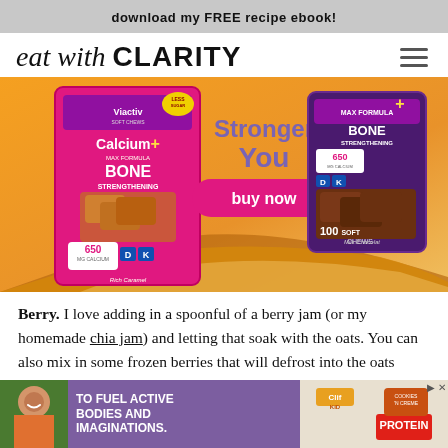download my FREE recipe ebook!
eat with CLARITY
[Figure (photo): Viactiv Calcium+ Bone Strengthening chews advertisement. Shows two pink product boxes (Rich Caramel and Milk Chocolate flavors, each with 650mg Calcium and vitamins D & K) with caramel chews flowing and a 'Stronger You — buy now' promotional overlay.]
Berry. I love adding in a spoonful of a berry jam (or my homemade chia jam) and letting that soak with the oats. You can also mix in some frozen berries that will defrost into the oats
[Figure (photo): Bottom advertisement banner: Clif Kid protein cookies product ad with purple background, text 'TO FUEL ACTIVE BODIES AND IMAGINATIONS.' and a smiling child.]